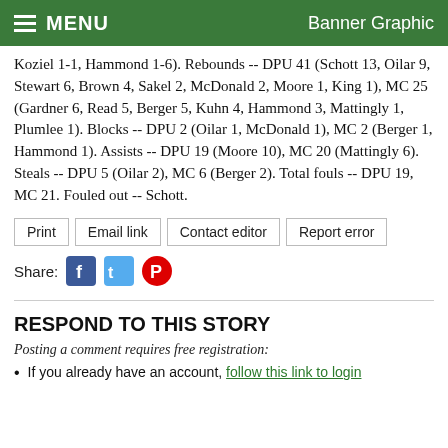MENU   Banner Graphic
Koziel 1-1, Hammond 1-6). Rebounds -- DPU 41 (Schott 13, Oilar 9, Stewart 6, Brown 4, Sakel 2, McDonald 2, Moore 1, King 1), MC 25 (Gardner 6, Read 5, Berger 5, Kuhn 4, Hammond 3, Mattingly 1, Plumlee 1). Blocks -- DPU 2 (Oilar 1, McDonald 1), MC 2 (Berger 1, Hammond 1). Assists -- DPU 19 (Moore 10), MC 20 (Mattingly 6). Steals -- DPU 5 (Oilar 2), MC 6 (Berger 2). Total fouls -- DPU 19, MC 21. Fouled out -- Schott.
Print  Email link  Contact editor  Report error
Share:
RESPOND TO THIS STORY
Posting a comment requires free registration:
If you already have an account, follow this link to login